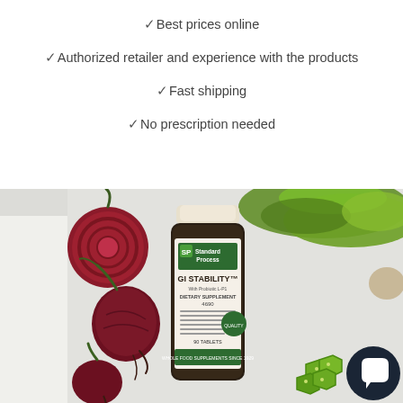✓Best prices online
✓Authorized retailer and experience with the products
✓Fast shipping
✓No prescription needed
[Figure (photo): Standard Process GI Stability dietary supplement bottle (amber glass, 90 tablets) surrounded by beets, green matcha powder, and okra slices on a light gray background. A dark chat/messenger bubble icon appears in bottom right corner.]